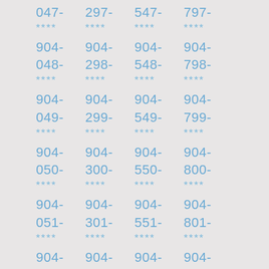047-
****
904-
048-
****
904-
049-
****
904-
050-
****
904-
051-
****
904-
052-
****
904-
297-
****
904-
298-
****
904-
299-
****
904-
300-
****
904-
301-
****
904-
302-
****
904-
547-
****
904-
548-
****
904-
549-
****
904-
550-
****
904-
551-
****
904-
552-
****
904-
797-
****
904-
798-
****
904-
799-
****
904-
800-
****
904-
801-
****
904-
802-
****
904-